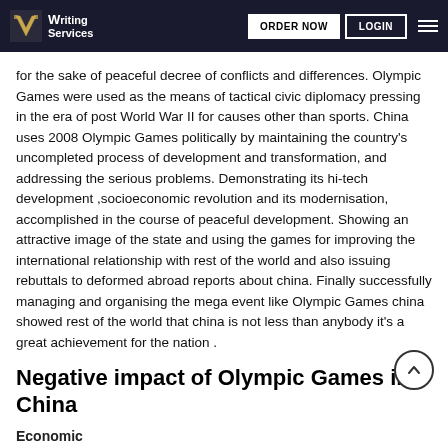Writing Services | ORDER NOW | LOGIN
for the sake of peaceful decree of conflicts and differences. Olympic Games were used as the means of tactical civic diplomacy pressing in the era of post World War II for causes other than sports. China uses 2008 Olympic Games politically by maintaining the country's uncompleted process of development and transformation, and addressing the serious problems. Demonstrating its hi-tech development ,socioeconomic revolution and its modernisation, accomplished in the course of peaceful development. Showing an attractive image of the state and using the games for improving the international relationship with rest of the world and also issuing rebuttals to deformed abroad reports about china. Finally successfully managing and organising the mega event like Olympic Games china showed rest of the world that china is not less than anybody it's a great achievement for the nation .
Negative impact of Olympic Games in China
Economic